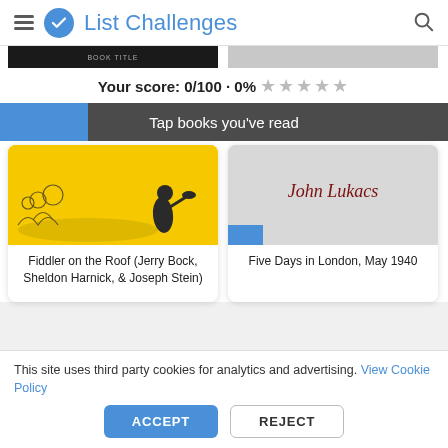List Challenges
Your score: 0/100 · 0% ★★★★★
Tap books you've read
[Figure (screenshot): Book cover for Fiddler on the Roof (Jerry Bock, Sheldon Harnick, & Joseph Stein) - yellow cover with black silhouette illustration]
Fiddler on the Roof (Jerry Bock, Sheldon Harnick, & Joseph Stein)
[Figure (screenshot): Book cover for Five Days in London, May 1940 by John Lukacs]
Five Days in London, May 1940
This site uses third party cookies for analytics and advertising. View Cookie Policy
ACCEPT
REJECT